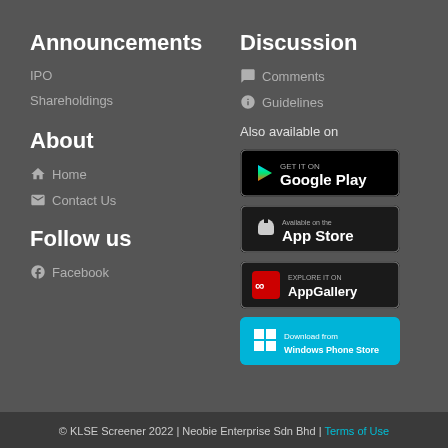Announcements
IPO
Shareholdings
About
Home
Contact Us
Follow us
Facebook
Discussion
Comments
Guidelines
Also available on
[Figure (illustration): Get it on Google Play badge]
[Figure (illustration): Available on the App Store badge]
[Figure (illustration): Explore it on AppGallery badge]
[Figure (illustration): Download from Windows Phone Store badge]
© KLSE Screener 2022 | Neobie Enterprise Sdn Bhd | Terms of Use